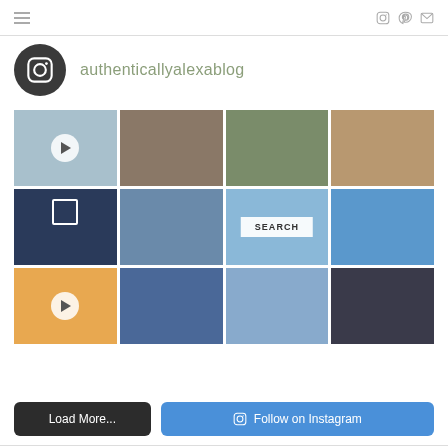Navigation bar with hamburger menu and social icons (Instagram, Pinterest, Email)
[Figure (logo): Instagram circle icon (dark background with Instagram camera logo)]
authenticallyalexablog
[Figure (photo): 3x4 grid of Instagram photos including videos with play buttons, group photos, outdoor scenes, selfies, and a SEARCH overlay on the center]
Load More...
Follow on Instagram